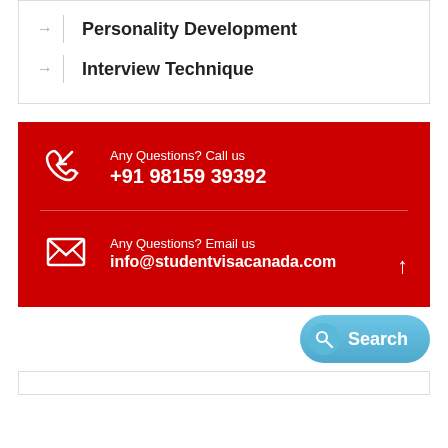Personality Development
Interview Technique
Any Questions? Call us
+91 98159 39392
Any Questions? Email us
info@studentvisacanada.com
Search